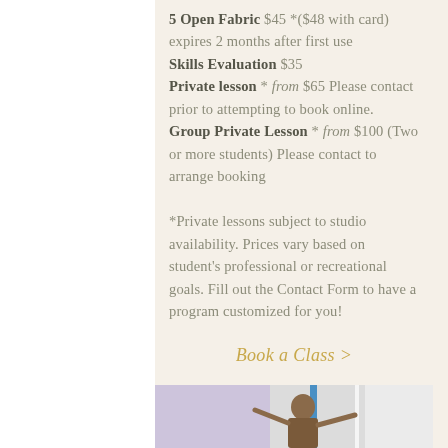5 Open Fabric $45 *($48 with card) expires 2 months after first use
Skills Evaluation $35
Private lesson * from $65 Please contact prior to attempting to book online.
Group Private Lesson * from $100 (Two or more students) Please contact to arrange booking

*Private lessons subject to studio availability. Prices vary based on student's professional or recreational goals. Fill out the Contact Form to have a program customized for you!
Book a Class >
[Figure (photo): A woman smiling with arms outstretched in a dance studio with blue and white walls]